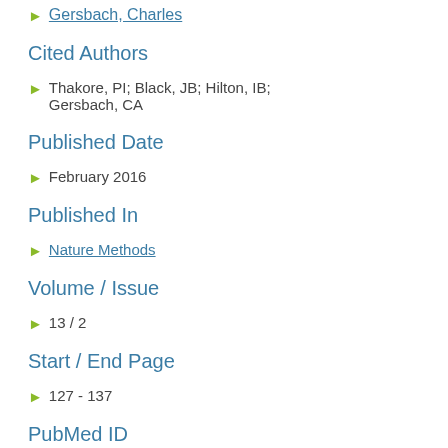Gersbach, Charles
Cited Authors
Thakore, PI; Black, JB; Hilton, IB; Gersbach, CA
Published Date
February 2016
Published In
Nature Methods
Volume / Issue
13 / 2
Start / End Page
127 - 137
PubMed ID
26322547